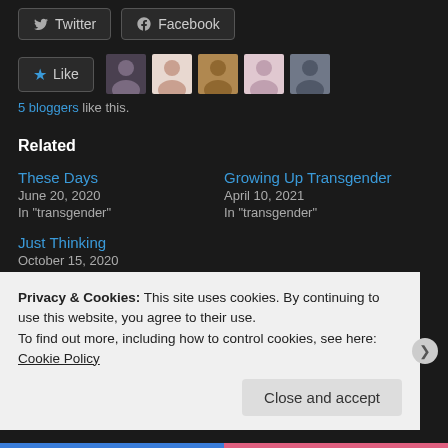[Figure (screenshot): Twitter and Facebook share buttons]
[Figure (screenshot): Like button with 5 blogger avatar thumbnails]
5 bloggers like this.
Related
These Days
June 20, 2020
In "transgender"
Growing Up Transgender
April 10, 2021
In "transgender"
Just Thinking
October 15, 2020
Privacy & Cookies: This site uses cookies. By continuing to use this website, you agree to their use.
To find out more, including how to control cookies, see here: Cookie Policy
Close and accept